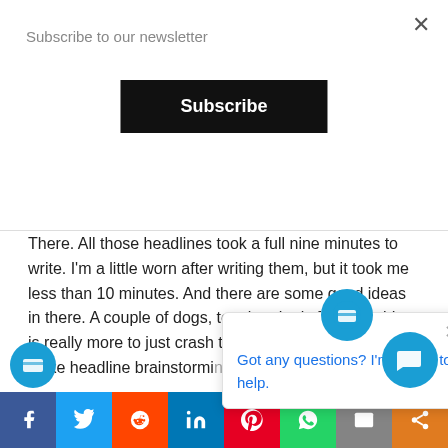Subscribe to our newsletter
Subscribe
Failure.
There. All those headlines took a full nine minutes to write. I'm a little worn after writing them, but it took me less than 10 minutes. And there are some good ideas in there. A couple of dogs, too, but that's fine. The idea is really more to just crash through and generate a big list – like headline brainstorming. There'll be time for fussi...
2. Use numbers
Especially uneven numbers.
[Figure (screenshot): Chat popup with icon saying 'Got any questions? I'm happy to help.' with a close button]
[Figure (screenshot): Social sharing bar with Facebook, Twitter, Reddit, LinkedIn, Pinterest, WhatsApp, Email, and More icons]